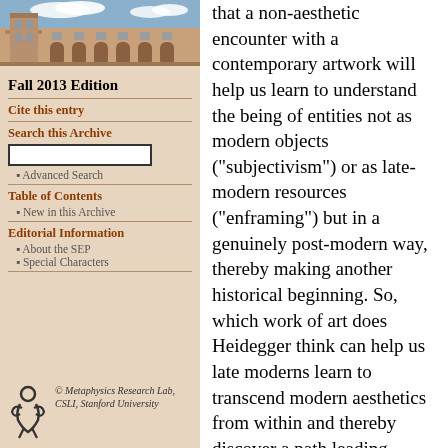[Figure (photo): Photograph of a university building (sandstone architecture) with blue sky and clouds, likely University of Sydney or similar institution]
Fall 2013 Edition
Cite this entry
Search this Archive
Advanced Search
Table of Contents
New in this Archive
Editorial Information
About the SEP
Special Characters
[Figure (logo): Metaphysics Research Lab logo — stylized figure/person icon in black]
© Metaphysics Research Lab, CSLI, Stanford University
that a non-aesthetic encounter with a contemporary artwork will help us learn to understand the being of entities not as modern objects ("subjectivism") or as late-modern resources ("enframing") but in a genuinely post-modern way, thereby making another historical beginning. So, which work of art does Heidegger think can help us late moderns learn to transcend modern aesthetics from within and thereby discover a path leading beyond modernity? There are only two viable candidates to fill this crucial role in "The Origin of the Work of Art": Meyer's poem and Van Gogh's painting.[33]